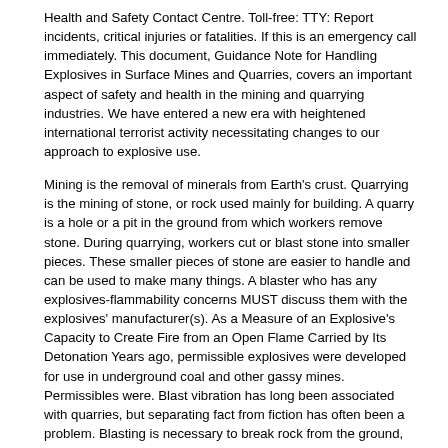Health and Safety Contact Centre. Toll-free: TTY: Report incidents, critical injuries or fatalities. If this is an emergency call immediately. This document, Guidance Note for Handling Explosives in Surface Mines and Quarries, covers an important aspect of safety and health in the mining and quarrying industries. We have entered a new era with heightened international terrorist activity necessitating changes to our approach to explosive use.
Mining is the removal of minerals from Earth's crust. Quarrying is the mining of stone, or rock used mainly for building. A quarry is a hole or a pit in the ground from which workers remove stone. During quarrying, workers cut or blast stone into smaller pieces. These smaller pieces of stone are easier to handle and can be used to make many things. A blaster who has any explosives-flammability concerns MUST discuss them with the explosives' manufacturer(s). As a Measure of an Explosive's Capacity to Create Fire from an Open Flame Carried by Its Detonation Years ago, permissible explosives were developed for use in underground coal and other gassy mines. Permissibles were. Blast vibration has long been associated with quarries, but separating fact from fiction has often been a problem. Blasting is necessary to break rock from the ground, prior to it being taken for processing. In the early days of aggregate quarrying, explosives were not used particularly scientifically although some attempts were made to.
Children's Book 'Stay Safe on the Farm with Jessy' Young & Elderly on Farms. Children on Farms. Quarries in Ireland. Quarry Accident and Inspection Statistics; storage and use of explosives and explosive products and a qualified shotfirer is always required to undertake blasting operations. In addition to health and safety legislation. Today's